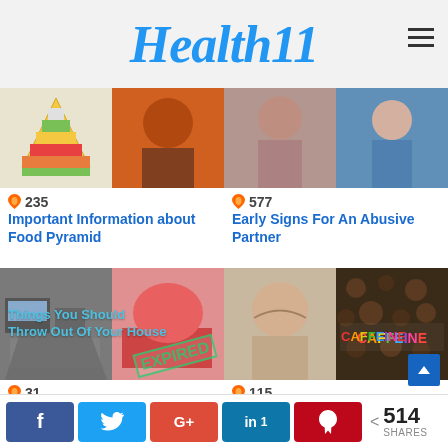Health11
[Figure (photo): Left card top: Food Pyramid illustration and person silhouette in orange]
🔥 235
Important Information about Food Pyramid
[Figure (photo): Right card top: Two women, one looking distressed]
🔥 577
Early Signs For An Abusive Partner
[Figure (photo): Left card bottom: Cluttered electronics and shoes with EXPIRED stamp overlay]
🔥 31
Things You Should Throw Out Of Your House Now. 2
[Figure (photo): Right card bottom: Elderly man holding head, CAFFEINE text on coffee beans]
🔥 115
Caffeine may ward off dementia by increasing
< 514 SHARES | f | Twitter | G+ | in 1 | Pinterest